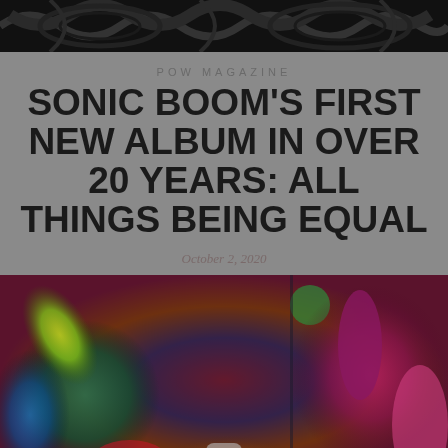[Figure (illustration): Black and white swirling decorative pattern / artwork at top of page]
POW MAGAZINE
SONIC BOOM'S FIRST NEW ALBUM IN OVER 20 YEARS: ALL THINGS BEING EQUAL
October 2, 2020
[Figure (photo): Colorful abstract album art with large rounded organic shapes in deep blues, reds, greens and yellows on a dark background — appears to be album artwork for Sonic Boom's 'All Things Being Equal']